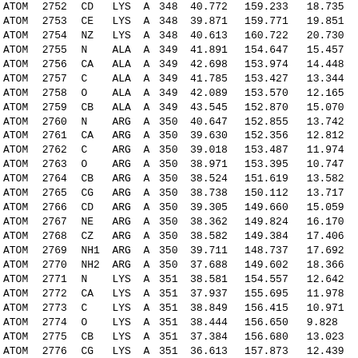| ATOM | serial | name | resName | chainID | resSeq | x | y | z |
| --- | --- | --- | --- | --- | --- | --- | --- | --- |
| ATOM | 2752 | CD | LYS | A | 348 | 40.772 | 159.233 | 18.735 |
| ATOM | 2753 | CE | LYS | A | 348 | 39.871 | 159.771 | 19.851 |
| ATOM | 2754 | NZ | LYS | A | 348 | 40.613 | 160.722 | 20.730 |
| ATOM | 2755 | N | ALA | A | 349 | 41.891 | 154.647 | 15.457 |
| ATOM | 2756 | CA | ALA | A | 349 | 42.698 | 153.974 | 14.448 |
| ATOM | 2757 | C | ALA | A | 349 | 41.785 | 153.427 | 13.344 |
| ATOM | 2758 | O | ALA | A | 349 | 42.089 | 153.570 | 12.165 |
| ATOM | 2759 | CB | ALA | A | 349 | 43.545 | 152.870 | 15.070 |
| ATOM | 2760 | N | ARG | A | 350 | 40.647 | 152.855 | 13.742 |
| ATOM | 2761 | CA | ARG | A | 350 | 39.630 | 152.356 | 12.812 |
| ATOM | 2762 | C | ARG | A | 350 | 39.018 | 153.487 | 11.974 |
| ATOM | 2763 | O | ARG | A | 350 | 38.971 | 153.395 | 10.747 |
| ATOM | 2764 | CB | ARG | A | 350 | 38.524 | 151.619 | 13.582 |
| ATOM | 2765 | CG | ARG | A | 350 | 38.738 | 150.112 | 13.717 |
| ATOM | 2766 | CD | ARG | A | 350 | 39.305 | 149.660 | 15.059 |
| ATOM | 2767 | NE | ARG | A | 350 | 38.362 | 149.824 | 16.170 |
| ATOM | 2768 | CZ | ARG | A | 350 | 38.582 | 149.384 | 17.406 |
| ATOM | 2769 | NH1 | ARG | A | 350 | 39.711 | 148.737 | 17.692 |
| ATOM | 2770 | NH2 | ARG | A | 350 | 37.688 | 149.602 | 18.366 |
| ATOM | 2771 | N | LYS | A | 351 | 38.581 | 154.557 | 12.642 |
| ATOM | 2772 | CA | LYS | A | 351 | 37.937 | 155.695 | 11.978 |
| ATOM | 2773 | C | LYS | A | 351 | 38.849 | 156.415 | 10.971 |
| ATOM | 2774 | O | LYS | A | 351 | 38.444 | 156.650 | 9.828 |
| ATOM | 2775 | CB | LYS | A | 351 | 37.384 | 156.680 | 13.023 |
| ATOM | 2776 | CG | LYS | A | 351 | 36.613 | 157.873 | 12.439 |
| ATOM | 2777 | CD | LYS | A | 351 | 35.899 | 158.671 | 13.537 |
| ATOM | 2778 | CE | LYS | A | 351 | 35.466 | 160.051 | 13.030 |
| ATOM | 2779 | NZ | LYS | A | 351 | 35.666 | 161.137 | 14.042 |
| ATOM | 2780 | N | LEU | A | 352 | 40.077 | 156.735 | 11.382 |
| ATOM | 2781 | CA | LEU | A | 352 | 40.976 | 157.575 | 10.585 |
| ATOM | 2782 | C | LEU | A | 352 | 41.011 | 158.999 | 11.001 |